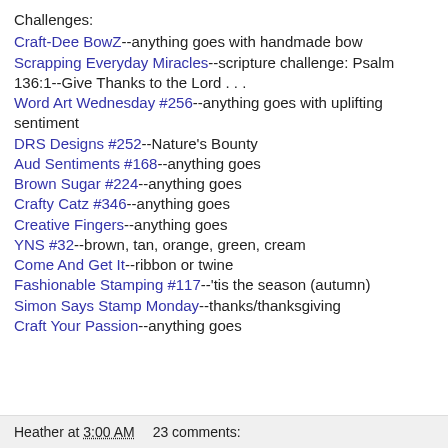Challenges:
Craft-Dee BowZ--anything goes with handmade bow
Scrapping Everyday Miracles--scripture challenge: Psalm 136:1--Give Thanks to the Lord . . .
Word Art Wednesday #256--anything goes with uplifting sentiment
DRS Designs #252--Nature's Bounty
Aud Sentiments #168--anything goes
Brown Sugar #224--anything goes
Crafty Catz #346--anything goes
Creative Fingers--anything goes
YNS #32--brown, tan, orange, green, cream
Come And Get It--ribbon or twine
Fashionable Stamping #117--'tis the season (autumn)
Simon Says Stamp Monday--thanks/thanksgiving
Craft Your Passion--anything goes
Heather at 3:00 AM    23 comments: